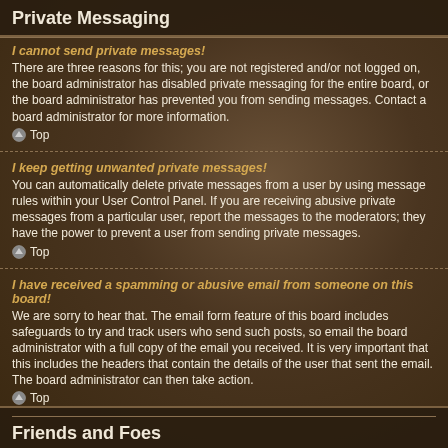Private Messaging
I cannot send private messages!
There are three reasons for this; you are not registered and/or not logged on, the board administrator has disabled private messaging for the entire board, or the board administrator has prevented you from sending messages. Contact a board administrator for more information.
Top
I keep getting unwanted private messages!
You can automatically delete private messages from a user by using message rules within your User Control Panel. If you are receiving abusive private messages from a particular user, report the messages to the moderators; they have the power to prevent a user from sending private messages.
Top
I have received a spamming or abusive email from someone on this board!
We are sorry to hear that. The email form feature of this board includes safeguards to try and track users who send such posts, so email the board administrator with a full copy of the email you received. It is very important that this includes the headers that contain the details of the user that sent the email. The board administrator can then take action.
Top
Friends and Foes